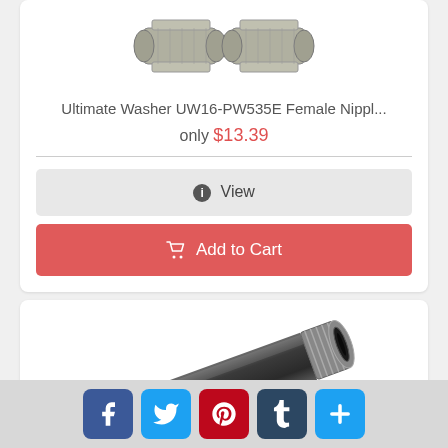[Figure (photo): Two metal female nipple connector fittings (stainless steel hexagonal)]
Ultimate Washer UW16-PW535E Female Nippl...
only $13.39
View
Add to Cart
[Figure (photo): Black cylindrical hose/tube section with braided ends - ACDelco professional hose]
ACDelco 30125 Professional Black
[Figure (infographic): Social media share buttons: Facebook, Twitter, Pinterest, Tumblr, More]